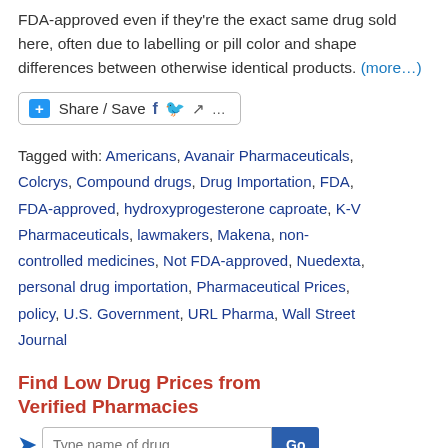FDA-approved even if they're the exact same drug sold here, often due to labelling or pill color and shape differences between otherwise identical products. (more...)
[Figure (other): Share/Save social media button bar with Facebook, Twitter, share icons]
Tagged with: Americans, Avanair Pharmaceuticals, Colcrys, Compound drugs, Drug Importation, FDA, FDA-approved, hydroxyprogesterone caproate, K-V Pharmaceuticals, lawmakers, Makena, non-controlled medicines, Not FDA-approved, Nuedexta, personal drug importation, Pharmaceutical Prices, policy, U.S. Government, URL Pharma, Wall Street Journal
Find Low Drug Prices from Verified Pharmacies
Type name of drug [Go]